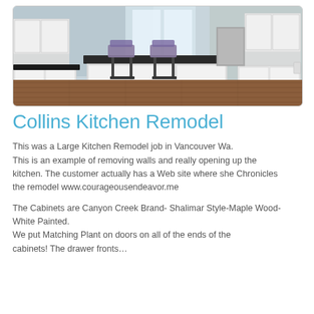[Figure (photo): Kitchen remodel photo showing a modern kitchen with white cabinets, dark countertops, hardwood floors, and bar stools at a kitchen island.]
Collins Kitchen Remodel
This was a Large Kitchen Remodel job in Vancouver Wa. This is an example of removing walls and really opening up the kitchen. The customer actually has a Web site where she Chronicles the remodel www.courageousendeavor.me
The Cabinets are Canyon Creek Brand- Shalimar Style-Maple Wood- White Painted. We put Matching Plant on doors on all of the ends of the cabinets! The drawer fronts…